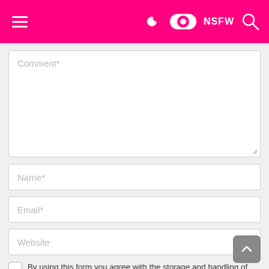≡  ) ● NSFW 🔍
[Figure (screenshot): Comment form with fields for Comment*, Name*, Email*, Website, a checkbox, and a back-to-top button. Pink navigation header with hamburger menu, moon icon, toggle, NSFW label, and search icon.]
Comment*
Name*
Email*
Website
By using this form you agree with the storage and handling of your